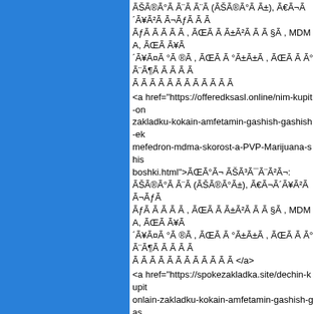ÃŠÃ®Ã°Ã Ã¨Ã (ÃŠÃ®Ã°Ã±), Ã€Ã¬Ã´Ã¥Ã²Ã Ã¬ÃƒÃ Ã¯Ã¨Ã, ÃŒÃ°Ã±Ã±Ã, MDMA, ÃŒÃ¥Ã´Ã¥Ã¤Ã°Ã®Ã, ÃŒÃ°Ã±Ã±Ã, ÃŒÃ Ã°Ã¨Ã¶Ã Ã°Ã Ã, Ã¸Ã¨Ã¸Ã®Ã, Ã¡Ã®Ã¸Ã¸Ã</a>
<a href="https://offeredksasl.online/nim-kupit-onlain-zakladku-kokain-amfetamin-gashish-gashish-ekstazi-mefedron-mdma-skorost-a-PVP-Marijuana-shishki-boshki.html">ÃŒÃ°Ã¬ ÃŠÃ³Ã¯Ã¨Ã²Ã¬: ÃŠÃ®Ã°Ã Ã¨Ã (ÃŠÃ®Ã°Ã±), Ã€Ã¬Ã´Ã¥Ã²Ã Ã¬ÃƒÃ Ã¯Ã¨Ã, ÃŒÃ°Ã±Ã±Ã, MDMA, ÃŒÃ¥Ã´Ã¥Ã¤Ã°Ã®Ã, ÃŒÃ°Ã±Ã±Ã, ÃŒÃ Ã°Ã¨Ã¶Ã Ã°Ã Ã, Ã¸Ã¨Ã¸Ã®Ã, Ã¡Ã®Ã¸Ã¸Ã</a>
<a href="https://spokezakladka.site/dechin-kupit-onlain-zakladku-kokain-amfetamin-gashish-gashish-ekstazi-mefedron-mdma-skorost-a-PVP-Marijuana-shishki-boshki.html">Ã„Ã¥Ã·Ã¨Ã ÃŠÃ³Ã¯Ã¨Ã²Ã¬: ÃŠÃ®Ã°Ã Ã¨Ã (ÃŠÃ®Ã°Ã±), Ã€Ã¬Ã´Ã¥Ã²Ã Ã¬ÃƒÃ Ã¯Ã¨Ã, ÃŒÃ°Ã±Ã±Ã, MDMA, ÃŒÃ¥Ã´Ã¥Ã¤Ã°Ã®Ã, ÃŒÃ°Ã±Ã±Ã, ÃŒÃ Ã°Ã¨Ã¶Ã Ã°Ã Ã, Ã¸Ã¨Ã¸Ã®Ã, Ã¡Ã®Ã¸Ã¸Ã</a>
<a href="https://learnedstuff.site/ishimbay-kupit-onlain-zakladku-kokain-amfetamin-gashish-gashish-ekstazi-mefedron-mdma-skorost-a-PVP-Marijuana-shishki-boshki.html">Ã Ã¸Ã¨Ã¬Ã¡Ã Ã¹ ÃŠÃ³Ã¯Ã¨Ã²Ã¬: ÃŠÃ®Ã°Ã Ã¨Ã (ÃŠÃ®Ã°Ã±),</a>